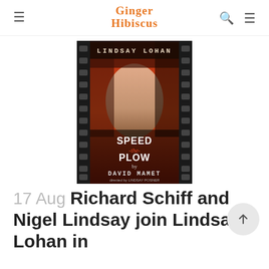Ginger Hibiscus
[Figure (photo): Book cover for 'Speed the Plow' by David Mamet, featuring Lindsay Lohan's face in black and white with a film strip border and orange/red tones. Text reads: LINDSAY LOHAN, SPEED -the- PLOW by DAVID MAMET, directed by Lindsay Posner.]
17 Aug Richard Schiff and Nigel Lindsay join Lindsay Lohan in